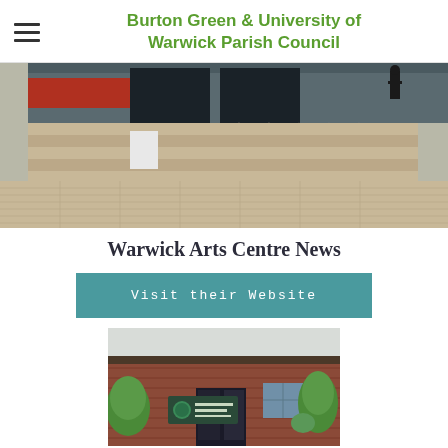Burton Green & University of Warwick Parish Council
[Figure (photo): Exterior photo of a public building with wide concrete steps and metal railings, paved forecourt area, person visible in background]
Warwick Arts Centre News
Visit their Website
[Figure (photo): Exterior photo of Burton Green Village Hall, a brick building with a circular logo sign reading 'Burton Green Village Hall', surrounded by green trees and shrubs]